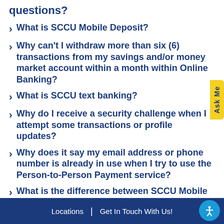questions?
What is SCCU Mobile Deposit?
Why can't I withdraw more than six (6) transactions from my savings and/or money market account within a month within Online Banking?
What is SCCU text banking?
Why do I receive a security challenge when I attempt some transactions or profile updates?
Why does it say my email address or phone number is already in use when I try to use the Person-to-Person Payment service?
What is the difference between SCCU Mobile Alerts and SCCU Mobile Text/SMS?
Locations | Get In Touch With Us!